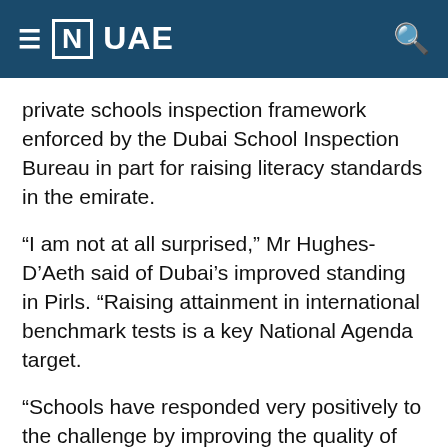≡ [N] UAE
private schools inspection framework enforced by the Dubai School Inspection Bureau in part for raising literacy standards in the emirate.
“I am not at all surprised,” Mr Hughes-D’Aeth said of Dubai’s improved standing in Pirls. “Raising attainment in international benchmark tests is a key National Agenda target.
“Schools have responded very positively to the challenge by improving the quality of teaching and learning and by developing independent thinking skills so children are guided to become more familiar with finding out for themselves and thus developing their